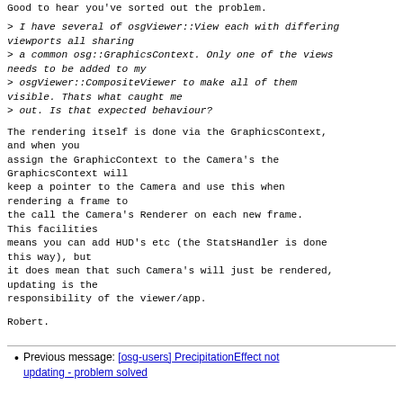Good to hear you've sorted out the problem.
> I have several of osgViewer::View each with differing viewports all sharing
> a common osg::GraphicsContext. Only one of the views needs to be added to my
> osgViewer::CompositeViewer to make all of them visible. Thats what caught me
> out. Is that expected behaviour?
The rendering itself is done via the GraphicsContext, and when you
assign the GraphicContext to the Camera's the GraphicsContext will
keep a pointer to the Camera and use this when rendering a frame to
the call the Camera's Renderer on each new frame. This facilities
means you can add HUD's etc (the StatsHandler is done this way), but
it does mean that such Camera's will just be rendered, updating is the
responsibility of the viewer/app.
Robert.
Previous message: [osg-users] PrecipitationEffect not updating - problem solved